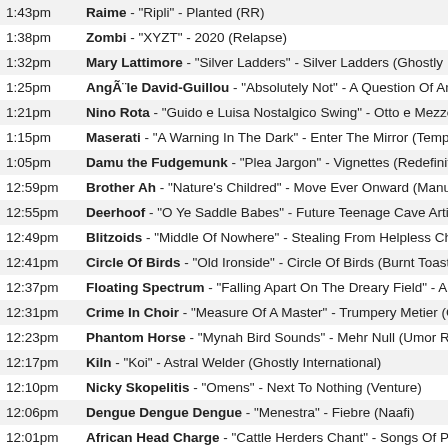| Time | Track Info |
| --- | --- |
| 1:43pm | Raime - "Ripli" - Planted (RR) |
| 1:38pm | Zombi - "XYZT" - 2020 (Relapse) |
| 1:32pm | Mary Lattimore - "Silver Ladders" - Silver Ladders (Ghostly In... |
| 1:25pm | AngÃ¨le David-Guillou - "Absolutely Not" - A Question Of Ang... |
| 1:21pm | Nino Rota - "Guido e Luisa Nostalgico Swing" - Otto e Mezzo (... |
| 1:15pm | Maserati - "A Warning In The Dark" - Enter The Mirror (Tempo... |
| 1:05pm | Damu the Fudgemunk - "Plea Jargon" - Vignettes (Redefinition... |
| 12:59pm | Brother Ah - "Nature's Childred" - Move Ever Onward (Manufa... |
| 12:55pm | Deerhoof - "O Ye Saddle Babes" - Future Teenage Cave Artists (... |
| 12:49pm | Blitzoids - "Middle Of Nowhere" - Stealing From Helpless Child... |
| 12:41pm | Circle Of Birds - "Old Ironside" - Circle Of Birds (Burnt Toast) |
| 12:37pm | Floating Spectrum - "Falling Apart On The Dreary Field" - A Po... |
| 12:31pm | Crime In Choir - "Measure Of A Master" - Trumpery Metier (Go... |
| 12:23pm | Phantom Horse - "Mynah Bird Sounds" - Mehr Null (Umor Rex... |
| 12:17pm | Kiln - "Koi" - Astral Welder (Ghostly International) |
| 12:10pm | Nicky Skopelitis - "Omens" - Next To Nothing (Venture) |
| 12:06pm | Dengue Dengue Dengue - "Menestra" - Fiebre (Naafi) |
| 12:01pm | African Head Charge - "Cattle Herders Chant" - Songs Of Prais... |